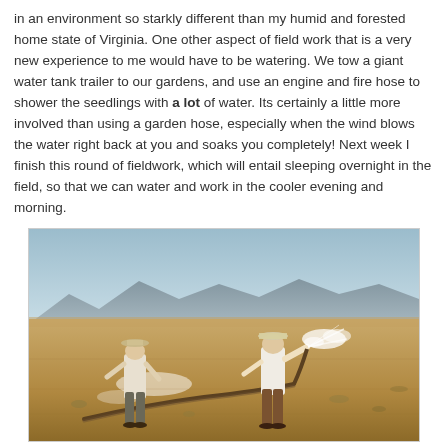in an environment so starkly different than my humid and forested home state of Virginia. One other aspect of field work that is a very new experience to me would have to be watering. We tow a giant water tank trailer to our gardens, and use an engine and fire hose to shower the seedlings with a lot of water. Its certainly a little more involved than using a garden hose, especially when the wind blows the water right back at you and soaks you completely! Next week I finish this round of fieldwork, which will entail sleeping overnight in the field, so that we can water and work in the cooler evening and morning.
[Figure (photo): Two people in a dry desert field using a fire hose to water seedlings. Mountains visible in background. One person holds the hose near the middle, another at the nozzle end spraying water. Sandy, arid ground with sparse vegetation.]